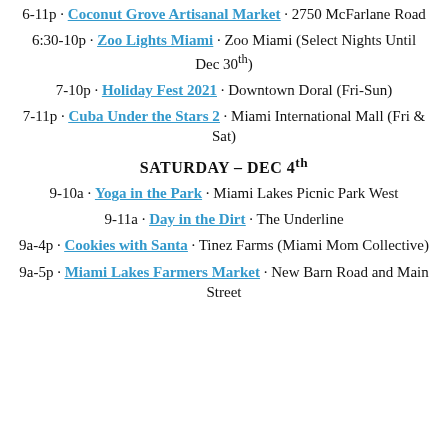6-11p · Coconut Grove Artisanal Market · 2750 McFarlane Road
6:30-10p · Zoo Lights Miami · Zoo Miami (Select Nights Until Dec 30th)
7-10p · Holiday Fest 2021 · Downtown Doral (Fri-Sun)
7-11p · Cuba Under the Stars 2 · Miami International Mall (Fri & Sat)
SATURDAY – DEC 4th
9-10a · Yoga in the Park · Miami Lakes Picnic Park West
9-11a · Day in the Dirt · The Underline
9a-4p · Cookies with Santa · Tinez Farms (Miami Mom Collective)
9a-5p · Miami Lakes Farmers Market · New Barn Road and Main Street